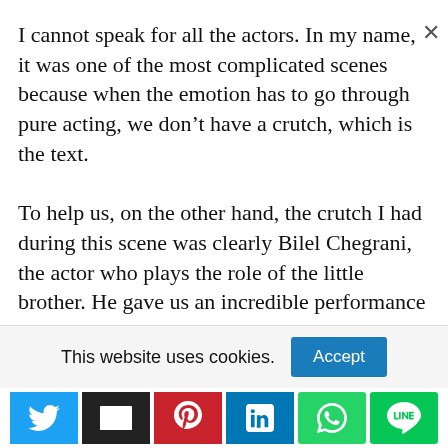I cannot speak for all the actors. In my name, it was one of the most complicated scenes because when the emotion has to go through pure acting, we don't have a crutch, which is the text.

To help us, on the other hand, the crutch I had during this scene was clearly Bilel Chegrani, the actor who plays the role of the little brother. He gave us an incredible performance that managed to move me and it helped me a lot in the game.
This website uses cookies.
[Figure (infographic): Cookie consent bar with Accept button and social sharing icons (Twitter, Email, Pinterest, LinkedIn, WhatsApp, Line)]